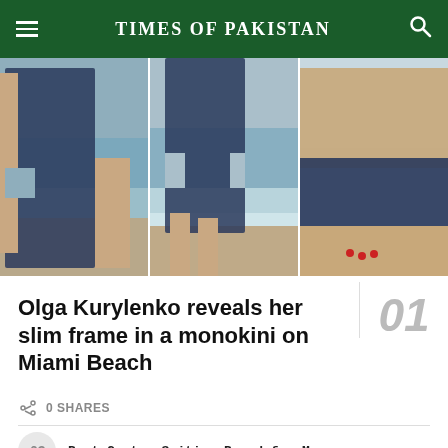TIMES OF PAKISTAN
[Figure (photo): Three panel photo collage of a woman in a navy blue monokini on Miami Beach, standing in and near the ocean water.]
Olga Kurylenko reveals her slim frame in a monokini on Miami Beach
0 SHARES
Best Custom Suiting Brand for Men